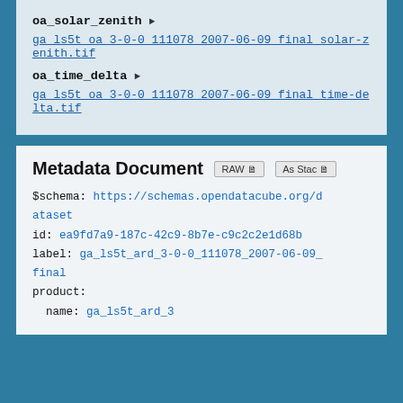oa_solar_zenith ▶
ga ls5t oa 3-0-0 111078 2007-06-09 final solar-zenith.tif
oa_time_delta ▶
ga ls5t oa 3-0-0 111078 2007-06-09 final time-delta.tif
Metadata Document
$schema: https://schemas.opendatacube.org/dataset
id: ea9fd7a9-187c-42c9-8b7e-c9c2c2e1d68b
label: ga_ls5t_ard_3-0-0_111078_2007-06-09_final
product:
  name: ga_ls5t_ard_3